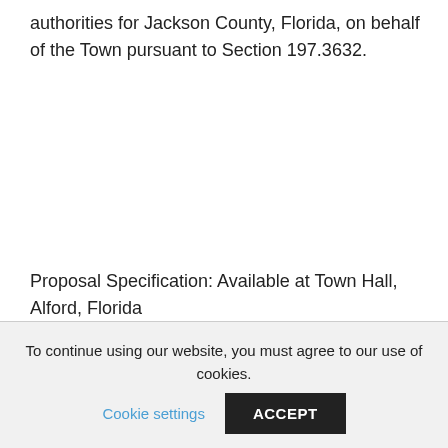authorities for Jackson County, Florida, on behalf of the Town pursuant to Section 197.3632.
Proposal Specification: Available at Town Hall, Alford, Florida
To continue using our website, you must agree to our use of cookies. Cookie settings ACCEPT